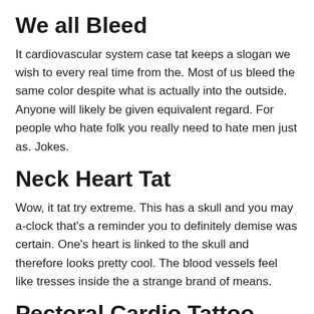We all Bleed
It cardiovascular system case tat keeps a slogan we wish to every real time from the. Most of us bleed the same color despite what is actually into the outside. Anyone will likely be given equivalent regard. For people who hate folk you really need to hate men just as. Jokes.
Neck Heart Tat
Wow, it tat try extreme. This has a skull and you may a-clock that's a reminder you to definitely demise was certain. One's heart is linked to the skull and therefore looks pretty cool. The blood vessels feel like tresses inside the a strange brand of means.
Pectoral Cardio Tattoo
These heart tat is a magnificent piece of artwork. The outline